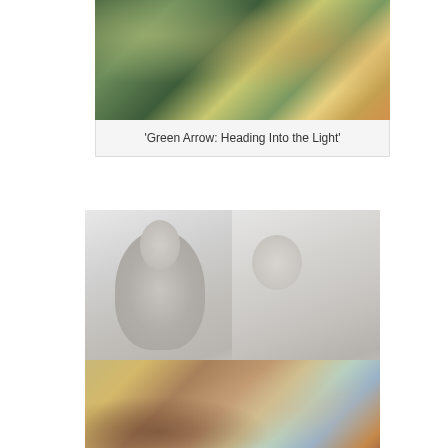[Figure (illustration): Partial view of comic/illustration artwork for 'Green Arrow: Heading Into the Light', showing colorful figures in green and yellow tones]
'Green Arrow: Heading Into the Light'
[Figure (illustration): Two grayscale illustrations side by side: left shows a faceless female figure holding a hare/rabbit, right shows a faceless wanderer figure carrying a bindle stick over shoulder]
'Hare/Bindle'
[Figure (illustration): Partial view of a colorful illustration showing surreal figures in a room setting with warm earth tones and decorative elements]